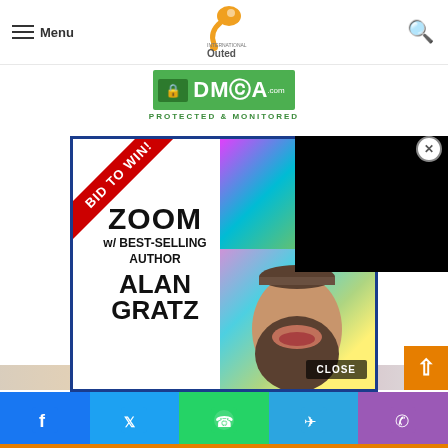[Figure (screenshot): Website navigation bar with hamburger menu icon, 'Menu' text, Outed logo (bird/question mark shape in orange), and search icon on the right]
[Figure (logo): DMCA Protected & Monitored badge in green with lock icon]
[Figure (screenshot): Advertisement popup: 'BID TO WIN!' diagonal red ribbon banner, text 'ZOOM w/ BEST-SELLING AUTHOR ALAN GRATZ', colorful background with a person's face on the right, X close button, CLOSE button, and a black video overlay in top right corner]
[Figure (screenshot): Social media share bar at bottom with Facebook, Twitter, WhatsApp, Telegram, and Phone icons on colored backgrounds (blue, light blue, green, teal, purple)]